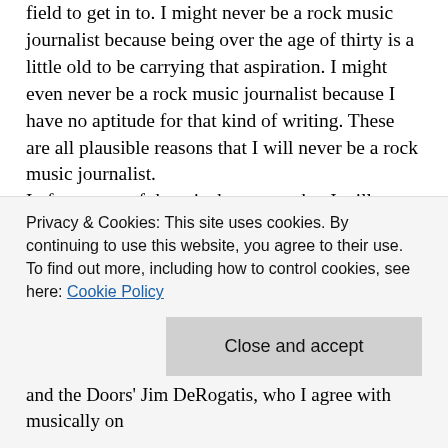field to get in to. I might never be a rock music journalist because being over the age of thirty is a little old to be carrying that aspiration. I might even never be a rock music journalist because I have no aptitude for that kind of writing. These are all plausible reasons that I will never be a rock music journalist.
In fact, none of them is the reason that I will never be a rock music journalist. My Muse lends me to nothing more wholly and joyfully than music writing, and age and difficulty are no bar to success when your will is aligned with that of your Muse. It's too bad that these aren't the reasons that I will never be a rock music journalist, because, while untrue, at least they make sense. The real reason that I will never be a
Privacy & Cookies: This site uses cookies. By continuing to use this website, you agree to their use.
To find out more, including how to control cookies, see here: Cookie Policy
Close and accept
and the Doors' Jim DeRogatis, who I agree with musically on